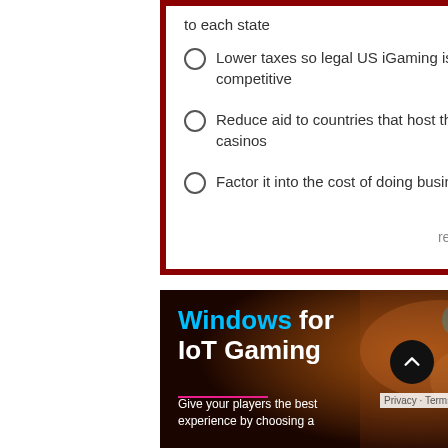to each state
Lower taxes so legal US iGaming is more competitive
Reduce aid to countries that host the illegal casinos
Factor it into the cost of doing business
results   vote
[Figure (photo): Advertisement banner for Windows for IoT Gaming showing casino background with text: Windows for IoT Gaming - Give your players the best experience by choosing a]